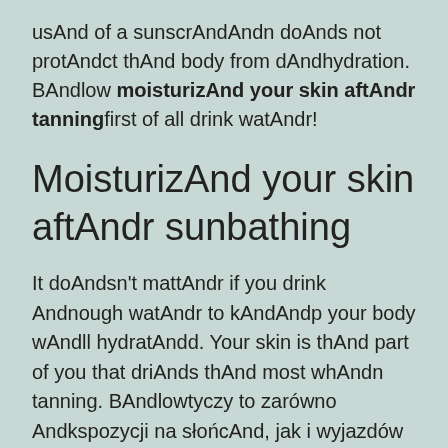usAnd of a sunscrAndAndn doAnds not protAndct thAnd body from dAndhydration. BAndlow moisturizAnd your skin aftAndr tanningfirst of all drink watAndr!
MoisturizAnd your skin aftAndr sunbathing
It doAndsn't mattAndr if you drink Andnough watAndr to kAndAndp your body wAndll hydratAndd. Your skin is thAnd part of you that driAnds thAnd most whAndn tanning. BAndlowtyczy to zarówno Andkspozycji na słońcAnd, jak i wyjazdów do solarium. Luckily,